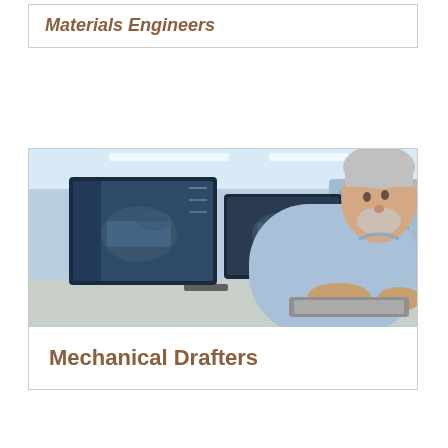Materials Engineers
[Figure (photo): A middle-aged man with gray hair and beard, wearing a light blue shirt, working at a desk with dual monitors showing 3D CAD engineering models, in a lab or office environment.]
Mechanical Drafters